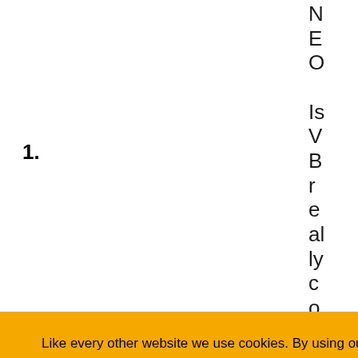1.
N
E
O

Is
V
B
r
e
al
ly
c
o
ol
e
r
th
a
Like every other website we use cookies. By using our site you acknowledge that you have read and understand our Cookie Policy, Privacy Policy, and our Terms of Service.
Learn more
Ask me later
Decline
Allow cookies